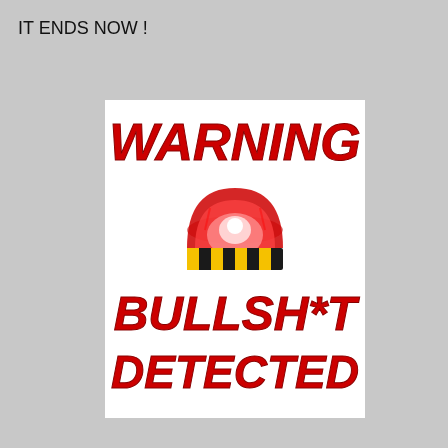IT ENDS NOW !
[Figure (illustration): Warning sign with red emergency siren light on a black and yellow hazard striped base, with bold red italic text reading WARNING at top and BULLSH*T DETECTED at bottom, on white background.]